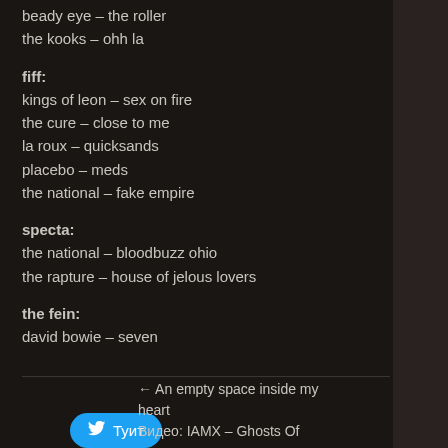beady eye – the roller
the kooks – ohh la
fiff:
kings of leon – sex on fire
the cure – close to me
la roux – quicksands
placebo – meds
the national – fake empire
specta:
the national – bloodbuzz ohio
the rapture – house of jelous lovers
the fein:
david bowie – seven
[Figure (other): Twitter tweet button with Cyrillic label 'Туит']
← An empty space inside my heart
Видео: IAMX – Ghosts Of